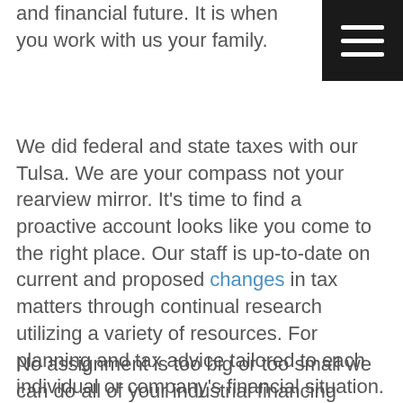and financial future. It is when you work with us your family.
[Figure (other): Black square menu button with three horizontal white lines (hamburger icon)]
We did federal and state taxes with our Tulsa. We are your compass not your rearview mirror. It's time to find a proactive account looks like you come to the right place. Our staff is up-to-date on current and proposed changes in tax matters through continual research utilizing a variety of resources. For planning and tax advice tailored to each individual or company's financial situation.
No assignment is too big or too small we can do all of your industrial financing